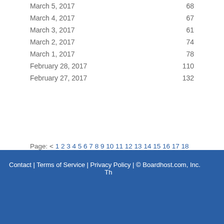March 5, 2017   68
March 4, 2017   67
March 3, 2017   61
March 2, 2017   74
March 1, 2017   78
February 28, 2017   110
February 27, 2017   132
Page: < 1 2 3 4 5 6 7 8 9 10 11 12 13 14 15 16 17 18 19 20 21 22 23 24 25 26 ... 45 46 47 48 49 50 51 52 53 54 55 56 57 58 59 60 61 62 63 64 65 66 67 68 69 ...
Contact | Terms of Service | Privacy Policy | © Boardhost.com, Inc.   Th...